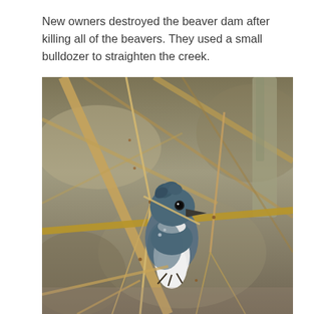New owners destroyed the beaver dam after killing all of the beavers. They used a small bulldozer to straighten the creek.
[Figure (photo): A belted kingfisher bird with blue-grey plumage and white breast perched among bare winter branches, photographed in close-up with a blurred background.]